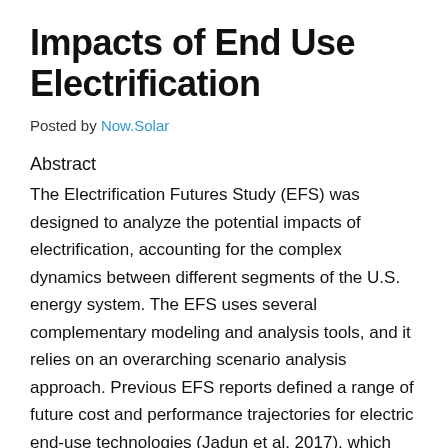Impacts of End Use Electrification
Posted by Now.Solar
Abstract
The Electrification Futures Study (EFS) was designed to analyze the potential impacts of electrification, accounting for the complex dynamics between different segments of the U.S. energy system. The EFS uses several complementary modeling and analysis tools, and it relies on an overarching scenario analysis approach. Previous EFS reports defined a range of future cost and performance trajectories for electric end-use technologies (Jadun et al. 2017), which informed a variety of electrification scenarios (Mai et al. 2018).

These different scenarios are defined by different...